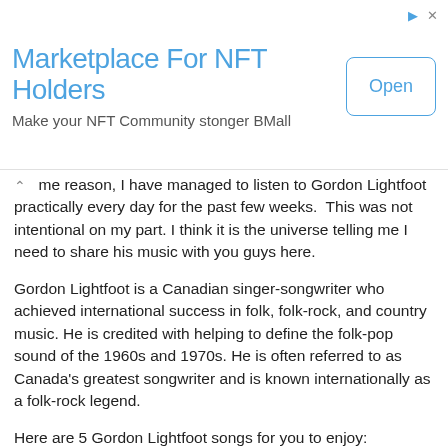[Figure (other): Advertisement banner for BMall NFT marketplace with title 'Marketplace For NFT Holders', subtitle 'Make your NFT Community stonger BMall', and an 'Open' button]
me reason, I have managed to listen to Gordon Lightfoot practically every day for the past few weeks.  This was not intentional on my part. I think it is the universe telling me I need to share his music with you guys here.
Gordon Lightfoot is a Canadian singer-songwriter who achieved international success in folk, folk-rock, and country music. He is credited with helping to define the folk-pop sound of the 1960s and 1970s. He is often referred to as Canada's greatest songwriter and is known internationally as a folk-rock legend.
Here are 5 Gordon Lightfoot songs for you to enjoy:
Sundown